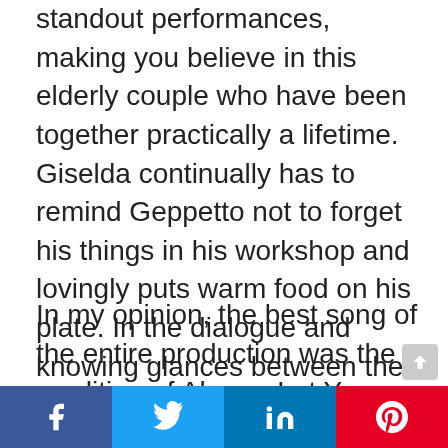standout performances, making you believe in this elderly couple who have been together practically a lifetime. Giselda continually has to remind Geppetto not to forget his things in his workshop and lovingly puts warm food on his plate. In the dialogue and knowing glances between the two, it was very believable that this was a relationship between two people made for each other.
In my opinion, the best song of the entire production was the rendition of Always Let Your Conscience Be Your Guide, laying down the whole message of the story in one earworm that stays with you long after you leave the theatre. One of the aspects I thought was handled the best was how seamlessly they put the dialogue into song form without it ever feeling forced or unnatural. A band of musicians... their A game